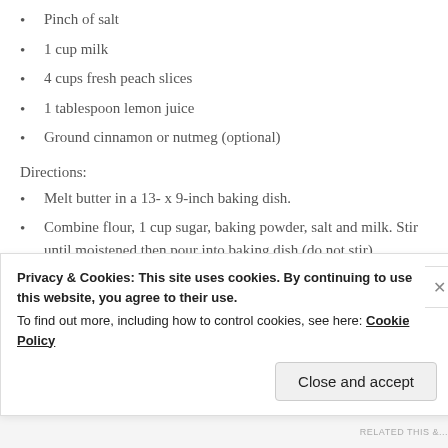Pinch of salt
1 cup milk
4 cups fresh peach slices
1 tablespoon lemon juice
Ground cinnamon or nutmeg (optional)
Directions:
Melt butter in a 13- x 9-inch baking dish.
Combine flour, 1 cup sugar, baking powder, salt and milk. Stir until moistened then pour into baking dish (do not stir)
Bring remaining 1 cup sugar, peaches, lemon juice to a boil over high heat. Stir constantly. Pour into baking dish (do not stir) can sprinkle with cinnamon if desired.
Privacy & Cookies: This site uses cookies. By continuing to use this website, you agree to their use.
To find out more, including how to control cookies, see here: Cookie Policy
Close and accept